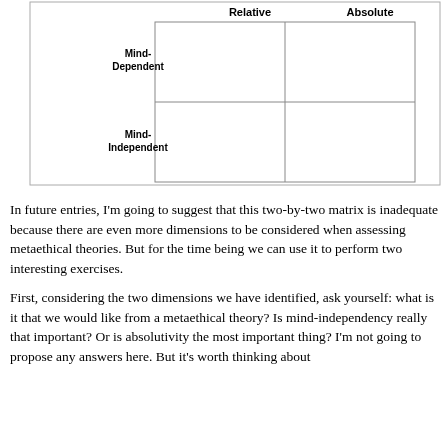[Figure (other): A two-by-two matrix with row labels 'Mind-Dependent' and 'Mind-Independent' on the left, and column headers 'Relative' and 'Absolute' at the top. The four interior cells are empty.]
In future entries, I'm going to suggest that this two-by-two matrix is inadequate because there are even more dimensions to be considered when assessing metaethical theories. But for the time being we can use it to perform two interesting exercises.
First, considering the two dimensions we have identified, ask yourself: what is it that we would like from a metaethical theory? Is mind-independency really that important? Or is absolutivity the most important thing? I'm not going to propose any answers here. But it's worth thinking about